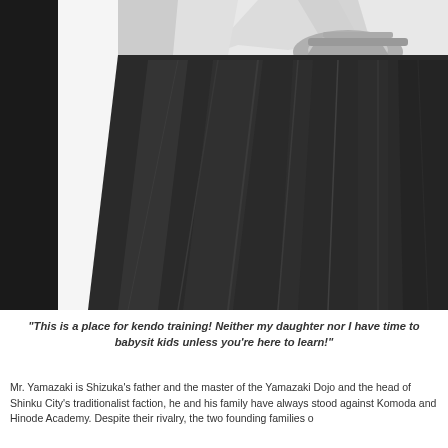[Figure (illustration): Close-up illustration of a person wearing a dark hakama (traditional Japanese kendo garment), with pleated dark fabric and a white gi visible at the top with tied obi. A dark sidebar on the left edge of the page.]
“This is a place for kendo training! Neither my daughter nor I have time to babysit kids unless you’re here to learn!”
Mr. Yamazaki is Shizuka’s father and the master of the Yamazaki Dojo and the head of Shinku City’s traditionalist faction, he and his family have always stood against Komoda and Hinode Academy. Despite their rivalry, the two founding families o